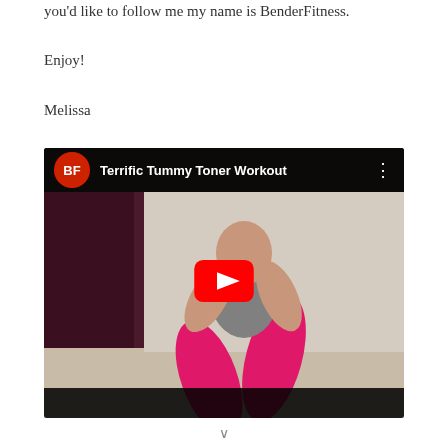you'd like to follow me my name is BenderFitness.
Enjoy!
Melissa
[Figure (screenshot): Embedded YouTube video player showing 'Terrific Tummy Toner Workout' by BenderFitness. The thumbnail shows a woman in pink pants doing a lunge exercise. A red YouTube play button is centered on the video. The top bar shows the BenderFitness channel logo and video title.]